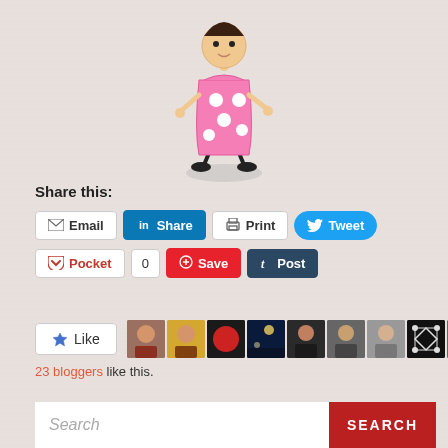[Figure (illustration): Cartoon stick figure of a girl wearing a pink polka-dot dress, with black shoes and hair on top, standing with a shadow beneath her feet]
Share this:
Email | Share | Print | Tweet | Pocket | 0 | Save | Post
[Figure (infographic): Like button with star icon followed by a row of 9 blogger avatar thumbnail photos]
23 bloggers like this.
Search ... SEARCH